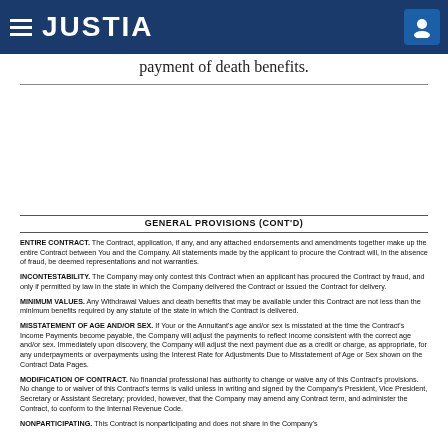JUSTIA
payment of death benefits.
GENERAL PROVISIONS (CONT'D)
ENTIRE CONTRACT. The Contract, application, if any, and any attached endorsements and amendments together make up the entire Contract between You and the Company. All statements made by the applicant to procure the Contract will, in the absence of fraud, be deemed representations and not warranties.
INCONTESTABILITY. The Company may only contest this Contract when an applicant has procured the Contract by fraud, and only if permitted by law in the state in which the Company delivered the Contract or issued the Contract for delivery.
MINIMUM VALUES. Any Withdrawal Values and death benefits that may be available under this Contract are not less than the minimum benefits required by any statute of the state in which the Contract is delivered.
MISSTATEMENT OF AGE AND/OR SEX. If Your or the Annuitant's age and/or sex is misstated at the time the Contract's Income Payments become payable, the Company will adjust the payments to reflect income consistent with the correct age and/or sex. Immediately upon discovery, the Company will adjust the next payment due as a credit or charge, as appropriate, for any underpayments or overpayments using the Interest Rate for Adjustments Due to Misstatement of Age or Sex shown on the Contract Data Pages.
MODIFICATION OF CONTRACT. No financial professional has authority to change or waive any of this Contract's provisions. No change to or waiver of this Contract's terms is valid unless in writing and signed by the Company's President, Vice President, Secretary or Assistant Secretary; provided, however, that the Company may amend any Contract term, and administer the Contract, to conform to the Internal Revenue Code.
NONPARTICIPATING. This Contract is nonparticipating and does not share in the Company's